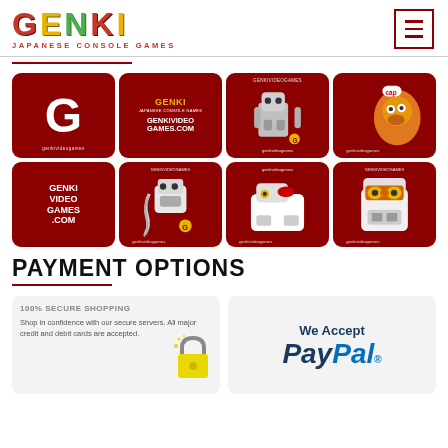[Figure (logo): GENKI Japanese Console Games logo with colorful stylized letters and red subtitle text]
[Figure (other): Hamburger/menu button icon with three horizontal lines in a red-bordered box]
[Figure (infographic): 2x4 grid of Genki Video Games branded thumbnail images including logo variants, robot characters, and mascot illustrations on dark red backgrounds]
PAYMENT OPTIONS
[Figure (infographic): 100% Secure Shopping card with text and padlock illustration]
[Figure (logo): We Accept PayPal logo card]